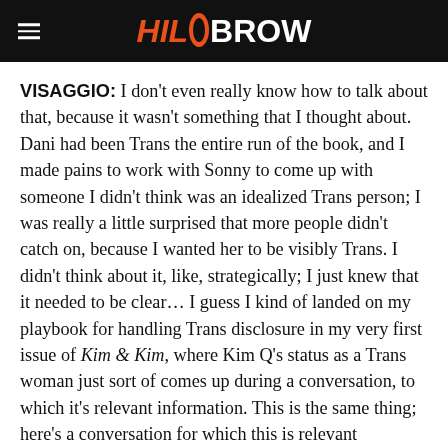HiloBrow
VISAGGIO: I don't even really know how to talk about that, because it wasn't something that I thought about. Dani had been Trans the entire run of the book, and I made pains to work with Sonny to come up with someone I didn't think was an idealized Trans person; I was really a little surprised that more people didn't catch on, because I wanted her to be visibly Trans. I didn't think about it, like, strategically; I just knew that it needed to be clear… I guess I kind of landed on my playbook for handling Trans disclosure in my very first issue of Kim & Kim, where Kim Q's status as a Trans woman just sort of comes up during a conversation, to which it's relevant information. This is the same thing; here's a conversation for which this is relevant information. And, the notion of Dani's change, Dani's transformation, Dani's growth, Dani's experience of becoming someone new, is something that I've gone